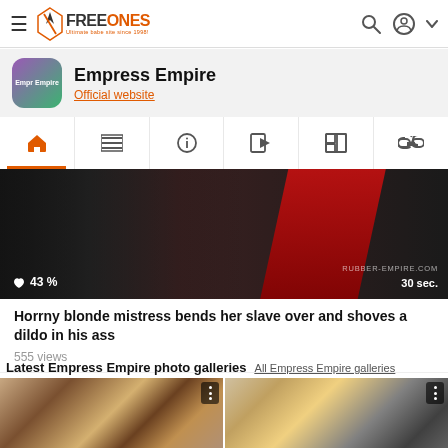FREEONES - Ultimate babe site since 1998!
Empress Empire
Official website
[Figure (screenshot): Navigation tab bar with home, list, info, video, photo, and link icons. Home icon is active with orange underline.]
[Figure (photo): Video thumbnail showing a dark scene with a red latex figure. Shows 43% likes and 30 sec duration. Watermark: RUBBER-EMPIRE.COM]
Horrny blonde mistress bends her slave over and shoves a dildo in his ass
555 views
Latest Empress Empire photo galleries
All Empress Empire galleries
[Figure (photo): Photo gallery thumbnail showing a woman in black latex with a pink object, floral background]
[Figure (photo): Photo gallery thumbnail showing a blonde woman in black latex outfit]